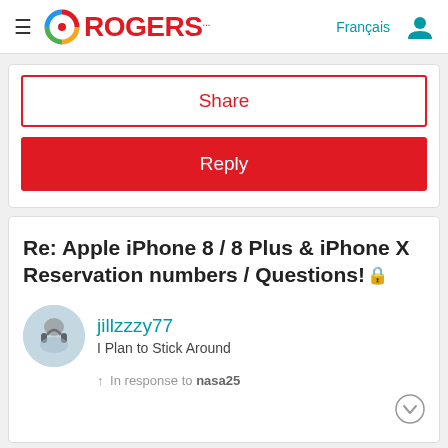Rogers - Français
Share
Reply
Re: Apple iPhone 8 / 8 Plus & iPhone X Reservation numbers / Questions!
jillzzzy77
I Plan to Stick Around
In response to nasa25